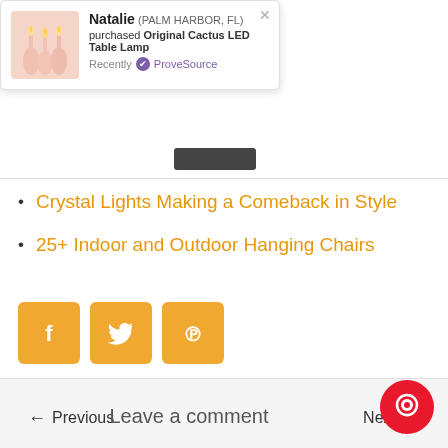[Figure (other): Notification popup from ProveSource showing Natalie from Palm Harbor, FL purchased Original Cactus LED Table Lamp recently, with a photo of candles/lamps on the left]
Crystal Lights Making a Comeback in Style
25+ Indoor and Outdoor Hanging Chairs
[Figure (other): Three orange/yellow social sharing buttons: Facebook (f), Twitter (bird), Pinterest (P)]
← Previous    Next →
Leave a comment